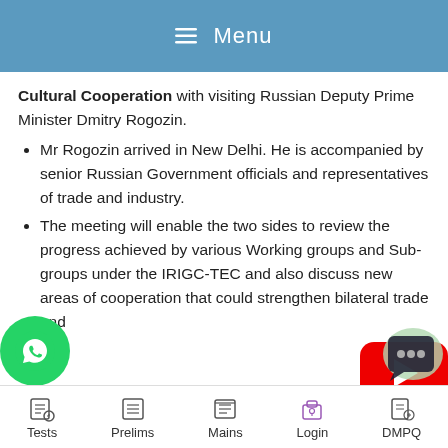Menu
Cultural Cooperation with visiting Russian Deputy Prime Minister Dmitry Rogozin.
Mr Rogozin arrived in New Delhi. He is accompanied by senior Russian Government officials and representatives of trade and industry.
The meeting will enable the two sides to review the progress achieved by various Working groups and Sub-groups under the IRIGC-TEC and also discuss new areas of cooperation that could strengthen bilateral trade and
Tests   Prelims   Mains   Login   DMPQ